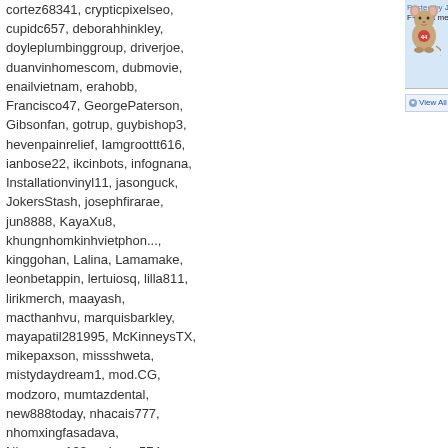cortez68341, crypticpixelseo, cupidc657, deborahhinkley, doyleplumbinggroup, driverjoe, duanvinhomescom, dubmovie, enailvietnam, erahobb, Francisco47, GeorgePaterson, Gibsonfan, gotrup, guybishop3, hevenpainrelief, Iamgroottt616, ianbose22, ikcinbots, infognana, Installationvinyl11, jasonguck, JokersStash, josephfirarae, jun8888, KayaXu8, khungnhomkinhvietphon..., kinggohan, Lalina, Lamamake, leonbetappin, lertuiosq, lilla811, lirikmerch, maayash, macthanhvu, marquisbarkley, mayapatil281995, McKinneysTX, mikepaxson, missshweta, mistydaydream1, mod.CG, modzoro, mumtazdental, new888today, nhacais777, nhomxingfasadava, Ninagrace123, nojeses574, omnidigital, Onbetlinkcom, Penmanmnotaries, Pepa47D, phanmemketoan, PianoDoors, prestam1os, PsyBlade, qckntxhitnhed, SabineBrown, SalasloveStore, Samlokiy, sarmsvssteroids, Shakhawat101, Sharktankketogummiesu..., Shonu12aug, socialbacklink1, sonygatla, steverogers9005, susiestravelweb, SwastikPackersinMumba..., taigamekingfunus, texaspurselawyers
[Figure (illustration): Jerry the mouse cartoon character avatar]
Posted by Jerry46 on 02/05/11 at 06:49
F+1 Put me down Mom. I'll behave.
View All Co...